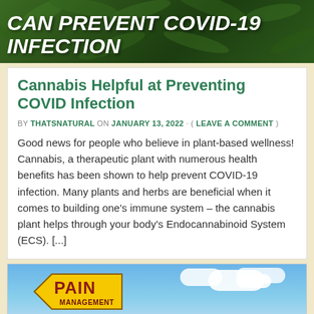[Figure (photo): Green cannabis plant background with white bold italic text reading 'CAN PREVENT COVID-19 INFECTION']
Cannabis Helpful at Preventing COVID Infection
BY THATSNATURAL ON JANUARY 13, 2022 · ( LEAVE A COMMENT )
Good news for people who believe in plant-based wellness!  Cannabis, a therapeutic plant with numerous health benefits has been shown to help prevent COVID-19 infection.  Many plants and herbs are beneficial when it comes to building one's immune system – the cannabis plant helps through your body's Endocannabinoid System (ECS). [...]
[Figure (photo): Yellow road sign shaped like an arrow pointing left with bold text 'PAIN MANAGEMENT' in dark red/maroon, against a blue sky background]